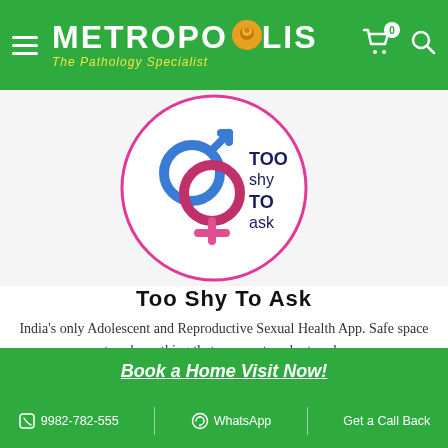[Figure (logo): Metropolis The Pathology Specialist logo — white text on green header with hamburger menu, cart and search icons]
[Figure (illustration): Too Shy To Ask app logo: interlocked male and female gender symbols in blue and pink/magenta inside a pink circle, with text 'TOO shy TO ask' in dark navy]
Too Shy To Ask
India's only Adolescent and Reproductive Sexual Health App. Safe space to ask anything that you are too shy to ask.
Book a Home Visit Now!
9982-782-555 | WhatsApp | Get a Call Back